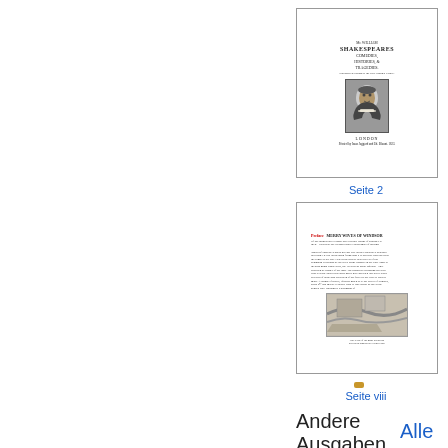[Figure (illustration): Thumbnail of Shakespeare First Folio title page with portrait engraving]
Seite 2
[Figure (illustration): Thumbnail of a page from Merry Wives of Windsor with preface text and map illustration]
Seite viii
Andere Ausgaben
Alle